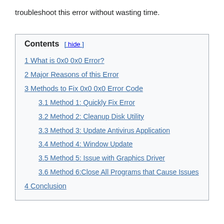troubleshoot this error without wasting time.
Contents [ hide ]
1 What is 0x0 0x0 Error?
2 Major Reasons of this Error
3 Methods to Fix 0x0 0x0 Error Code
3.1 Method 1: Quickly Fix Error
3.2 Method 2: Cleanup Disk Utility
3.3 Method 3: Update Antivirus Application
3.4 Method 4: Window Update
3.5 Method 5: Issue with Graphics Driver
3.6 Method 6:Close All Programs that Cause Issues
4 Conclusion